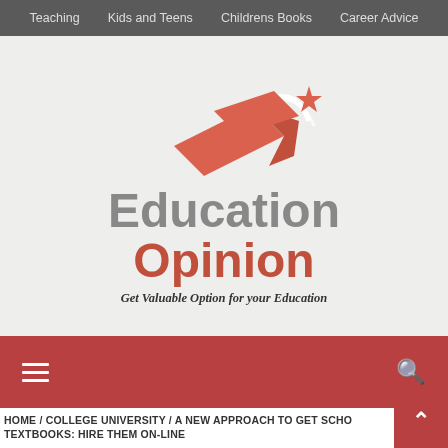Teaching   Kids and Teens   Childrens Books   Career Advice
[Figure (logo): Education Opinion website logo with a graduation cap and star graphic in coral/salmon color, with text 'Education Opinion' in gray and coral, and tagline 'Get Valuable Option for your Education']
≡   🔍
HOME / COLLEGE UNIVERSITY / A NEW APPROACH TO GET SCHOOL TEXTBOOKS: HIRE THEM ON-LINE